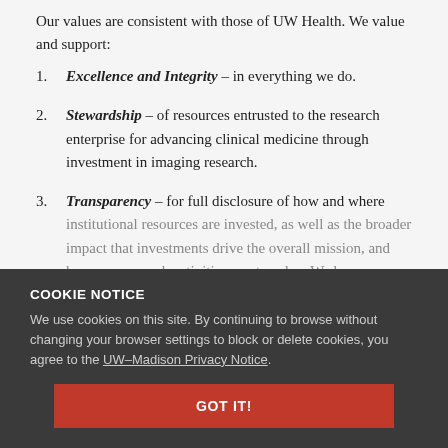Our values are consistent with those of UW Health. We value and support:
Excellence and Integrity – in everything we do.
Stewardship – of resources entrusted to the research enterprise for advancing clinical medicine through investment in imaging research.
Transparency – for full disclosure of how and where institutional resources are invested, as well as the broader impact that investments drive the overall mission, and how our research activities create value. We have a tremendous responsibility to the public that has entrusted us with resources, to our patients and to perform research.
COOKIE NOTICE
We use cookies on this site. By continuing to browse without changing your browser settings to block or delete cookies, you agree to the UW–Madison Privacy Notice.
GOT IT!